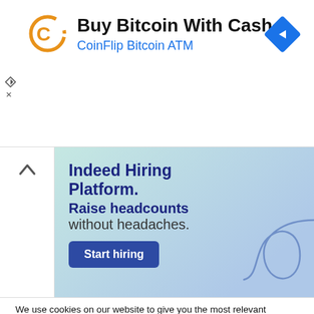[Figure (screenshot): CoinFlip Bitcoin ATM advertisement banner with orange C logo and blue diamond arrow icon. Title: 'Buy Bitcoin With Cash', subtitle: 'CoinFlip Bitcoin ATM']
[Figure (screenshot): Indeed Hiring Platform advertisement banner with teal/blue gradient background. Text: 'Indeed Hiring Platform. Raise headcounts without headaches.' with a 'Start hiring' dark blue button and decorative swirl.]
We use cookies on our website to give you the most relevant experience by remembering your preferences and repeat visits. By clicking “Accept”, you consent to the use of All the cookies. Read More
Cookie settings   Accept